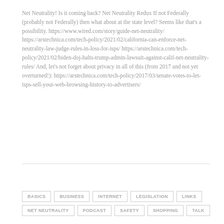Net Neutrality! Is it coming back? Net Neutrality Redux If not Federally (probably not Federally) then what about at the state level? Seems like that's a possibility. https://www.wired.com/story/guide-net-neutrality/ https://arstechnica.com/tech-policy/2021/02/california-can-enforce-net-neutrality-law-judge-rules-in-loss-for-isps/ https://arstechnica.com/tech-policy/2021/02/biden-doj-halts-trump-admin-lawsuit-against-calif-net-neutrality-rules/ And, let's not forget about privacy in all of this (from 2017 and not yet overturned!): https://arstechnica.com/tech-policy/2017/03/senate-votes-to-let-isps-sell-your-web-browsing-history-to-advertisers/
BASICS
BUSINESS
INTERNET
LEGISLATION
LINKS
NET NEUTRALITY
PODCAST
SAFETY
SHOPPING
TALK